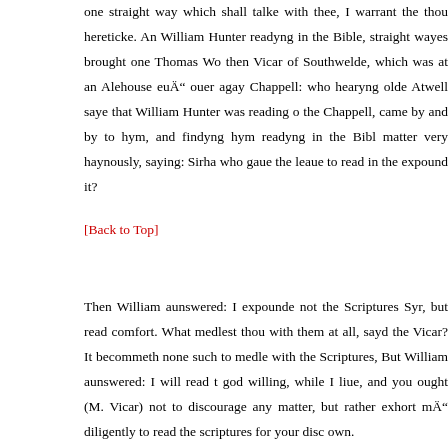one straight way which shall talke with thee, I warrant the thou hereticke. And William Hunter readyng in the Bible, straight wayes brought one Thomas Wo then Vicar of Southwelde, which was at an Alehouse euÄ" ouer agay Chappell: who hearyng olde Atwell saye that William Hunter was reading o the Chappell, came by and by to hym, and findyng hym readyng in the Bibl matter very haynously, saying: Sirha who gaue the leaue to read in the expound it?
[Back to Top]
Then William aunswered: I expounde not the Scriptures Syr, but read comfort. What medlest thou with them at all, sayd the Vicar? It becommeth none such to medle with the Scriptures, But William aunswered: I will read t god willing, while I liue, and you ought (M. Vicar) not to discourage any matter, but rather exhort mÄ" diligently to read the scriptures for your disc own.